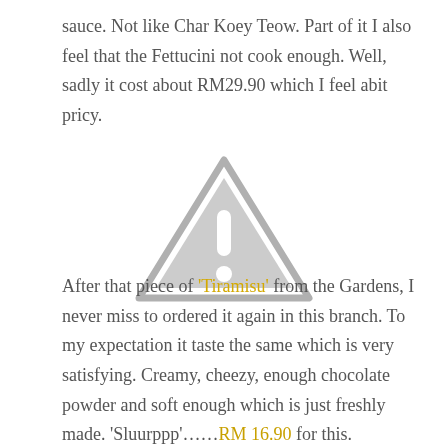sauce. Not like Char Koey Teow. Part of it I also feel that the Fettucini not cook enough. Well, sadly it cost about RM29.90 which I feel abit pricy.
[Figure (other): Warning/placeholder triangle icon with exclamation mark in grey]
After that piece of 'Tiramisu' from the Gardens, I never miss to ordered it again in this branch. To my expectation it taste the same which is very satisfying. Creamy, cheezy, enough chocolate powder and soft enough which is just freshly made. 'Sluurppp'……RM 16.90 for this.